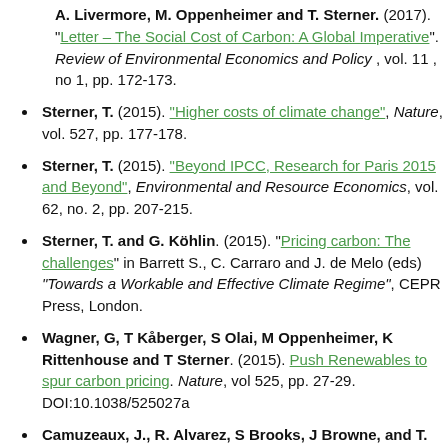A. Livermore, M. Oppenheimer and T. Sterner. (2017). "Letter – The Social Cost of Carbon: A Global Imperative". Review of Environmental Economics and Policy, vol. 11, no 1, pp. 172-173.
Sterner, T. (2015). "Higher costs of climate change", Nature, vol. 527, pp. 177-178.
Sterner, T. (2015). "Beyond IPCC, Research for Paris 2015 and Beyond", Environmental and Resource Economics, vol. 62, no. 2, pp. 207-215.
Sterner, T. and G. Köhlin. (2015). "Pricing carbon: The challenges" in Barrett S., C. Carraro and J. de Melo (eds) "Towards a Workable and Effective Climate Regime", CEPR Press, London.
Wagner, G, T Kåberger, S Olai, M Oppenheimer, K Rittenhouse and T Sterner. (2015). Push Renewables to spur carbon pricing. Nature, vol 525, pp. 27-29. DOI:10.1038/525027a
Camuzeaux, J., R. Alvarez, S Brooks, J Browne, and T. Sterner (2015). "Influence of Methane Emissions and